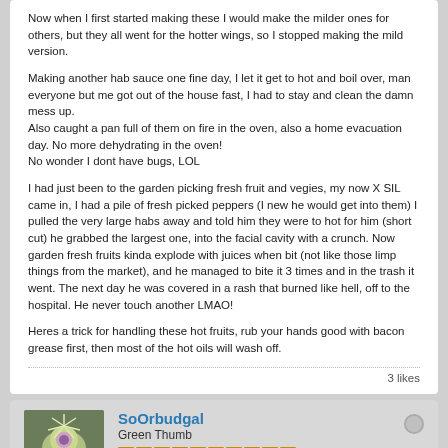Now when I first started making these I would make the milder ones for others, but they all went for the hotter wings, so I stopped making the mild version.

Making another hab sauce one fine day, I let it get to hot and boil over, man everyone but me got out of the house fast, I had to stay and clean the damn mess up.
Also caught a pan full of them on fire in the oven, also a home evacuation day. No more dehydrating in the oven!
No wonder I dont have bugs, LOL

I had just been to the garden picking fresh fruit and vegies, my now X SIL came in, I had a pile of fresh picked peppers (I new he would get into them) I pulled the very large habs away and told him they were to hot for him (short cut) he grabbed the largest one, into the facial cavity with a crunch. Now garden fresh fruits kinda explode with juices when bit (not like those limp things from the market), and he managed to bite it 3 times and in the trash it went. The next day he was covered in a rash that burned like hell, off to the hospital. He never touch another LMAO!

Heres a trick for handling these hot fruits, rub your hands good with bacon grease first, then most of the hot oils will wash off.
3 likes
SoOrbudgal
Green Thumb
Join Date: Sep 2016   Posts: 6131